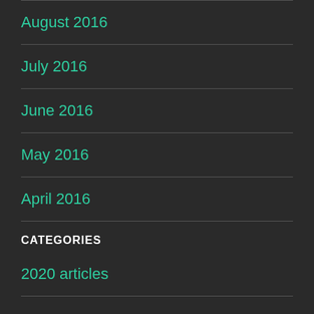August 2016
July 2016
June 2016
May 2016
April 2016
CATEGORIES
2020 articles